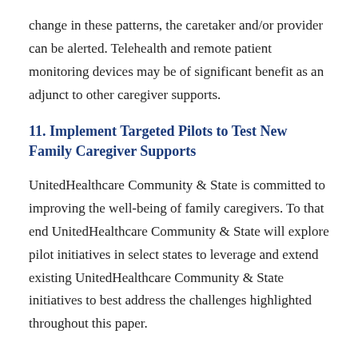change in these patterns, the caretaker and/or provider can be alerted. Telehealth and remote patient monitoring devices may be of significant benefit as an adjunct to other caregiver supports.
11. Implement Targeted Pilots to Test New Family Caregiver Supports
UnitedHealthcare Community & State is committed to improving the well-being of family caregivers. To that end UnitedHealthcare Community & State will explore pilot initiatives in select states to leverage and extend existing UnitedHealthcare Community & State initiatives to best address the challenges highlighted throughout this paper.